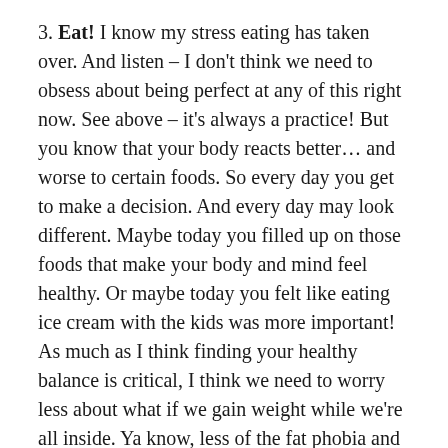3. Eat! I know my stress eating has taken over. And listen – I don't think we need to obsess about being perfect at any of this right now. See above – it's always a practice! But you know that your body reacts better… and worse to certain foods. So every day you get to make a decision. And every day may look different. Maybe today you filled up on those foods that make your body and mind feel healthy. Or maybe today you felt like eating ice cream with the kids was more important! As much as I think finding your healthy balance is critical, I think we need to worry less about what if we gain weight while we're all inside. Ya know, less of the fat phobia and more about deciding each day what will serve you best. When we start to listen to our internal teacher more (intuition)